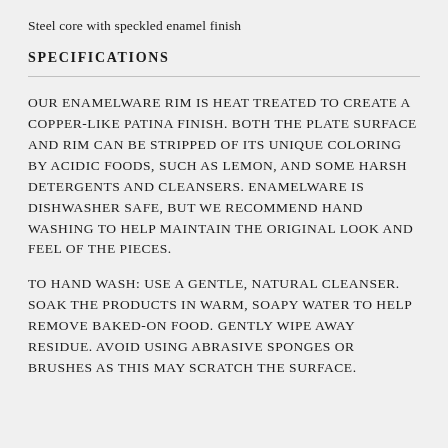Steel core with speckled enamel finish
SPECIFICATIONS
OUR ENAMELWARE RIM IS HEAT TREATED TO CREATE A COPPER-LIKE PATINA FINISH. BOTH THE PLATE SURFACE AND RIM CAN BE STRIPPED OF ITS UNIQUE COLORING BY ACIDIC FOODS, SUCH AS LEMON, AND SOME HARSH DETERGENTS AND CLEANSERS. ENAMELWARE IS DISHWASHER SAFE, BUT WE RECOMMEND HAND WASHING TO HELP MAINTAIN THE ORIGINAL LOOK AND FEEL OF THE PIECES.
TO HAND WASH: USE A GENTLE, NATURAL CLEANSER. SOAK THE PRODUCTS IN WARM, SOAPY WATER TO HELP REMOVE BAKED-ON FOOD. GENTLY WIPE AWAY RESIDUE. AVOID USING ABRASIVE SPONGES OR BRUSHES AS THIS MAY SCRATCH THE SURFACE.